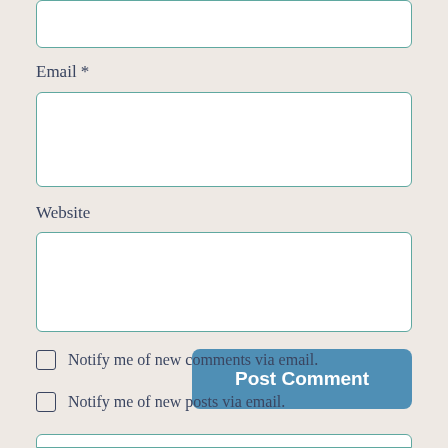[Figure (screenshot): Top portion of a comment form input box (partially visible at top of page)]
Email *
[Figure (screenshot): Email input text field (empty white box with teal border)]
Website
[Figure (screenshot): Website input text field (empty white box with teal border)]
[Figure (screenshot): Post Comment button (blue rounded rectangle with white bold text)]
Notify me of new comments via email.
Notify me of new posts via email.
[Figure (screenshot): Bottom input box partially visible at very bottom of page]